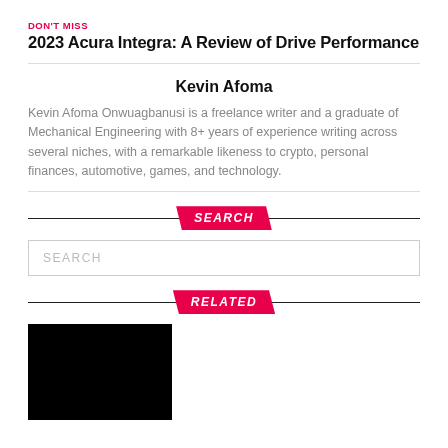DON'T MISS
2023 Acura Integra: A Review of Drive Performance
Kevin Afoma
Kevin Afoma Onwuagbanusi is a freelance writer and a graduate of Mechanical Engineering with 8+ years of experience writing across several niches, with a remarkable likeness to crypto, personal finances, automotive, games, and technology.
SEARCH
SEARCH
RELATED
[Figure (photo): Black thumbnail image for a related article]